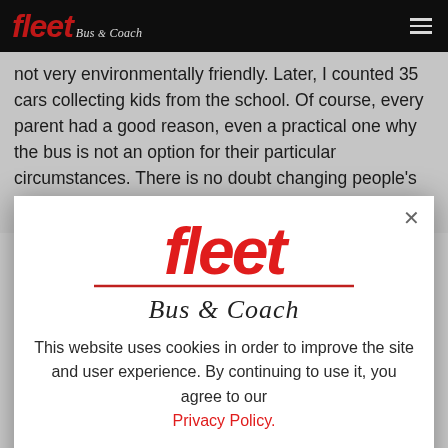fleet Bus & Coach
not very environmentally friendly. Later, I counted 35 cars collecting kids from the school. Of course, every parent had a good reason, even a practical one why the bus is not an option for their particular circumstances. There is no doubt changing people's traveling habits and perceptions is going
[Figure (logo): Fleet Bus & Coach logo — red italic bold 'fleet' text with 'Bus & Coach' in script below, underlined in red]
This website uses cookies in order to improve the site and user experience. By continuing to use it, you agree to our Privacy Policy.
I understand